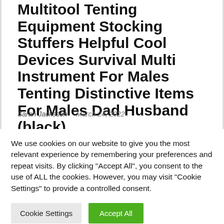Multitool Tenting Equipment Stocking Stuffers Helpful Cool Devices Survival Multi Instrument For Males Tenting Distinctive Items For Males Dad Husband (black)
Sarah Jacksson · March 24, 2022
We use cookies on our website to give you the most relevant experience by remembering your preferences and repeat visits. By clicking "Accept All", you consent to the use of ALL the cookies. However, you may visit "Cookie Settings" to provide a controlled consent.